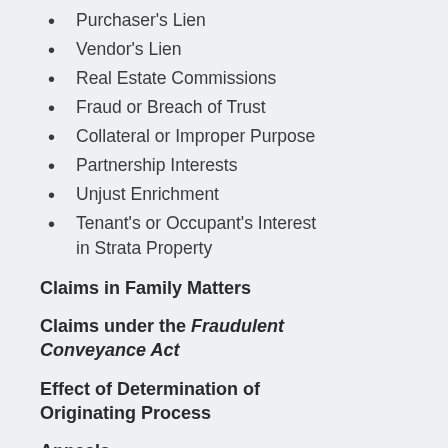Purchaser's Lien
Vendor's Lien
Real Estate Commissions
Fraud or Breach of Trust
Collateral or Improper Purpose
Partnership Interests
Unjust Enrichment
Tenant's or Occupant's Interest in Strata Property
Claims in Family Matters
Claims under the Fraudulent Conveyance Act
Effect of Determination of Originating Process
Appeals
Leave to Appeal